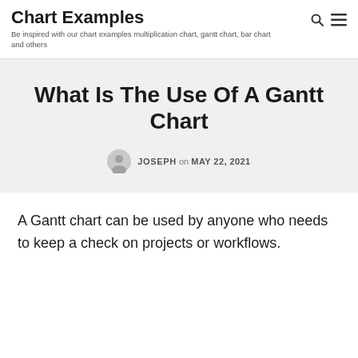Chart Examples
Be inspired with our chart examples multiplication chart, gantt chart, bar chart and others
What Is The Use Of A Gantt Chart
JOSEPH on MAY 22, 2021
A Gantt chart can be used by anyone who needs to keep a check on projects or workflows.